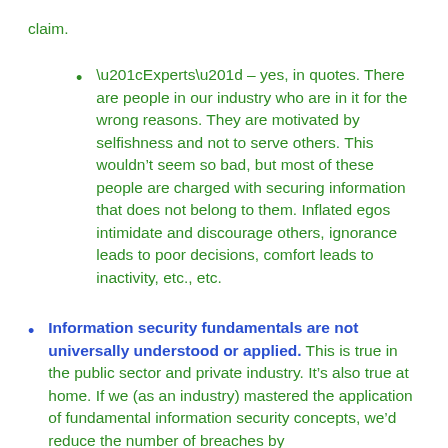claim.
“Experts” – yes, in quotes. There are people in our industry who are in it for the wrong reasons. They are motivated by selfishness and not to serve others. This wouldn’t seem so bad, but most of these people are charged with securing information that does not belong to them. Inflated egos intimidate and discourage others, ignorance leads to poor decisions, comfort leads to inactivity, etc., etc.
Information security fundamentals are not universally understood or applied. This is true in the public sector and private industry. It’s also true at home. If we (as an industry) mastered the application of fundamental information security concepts, we’d reduce the number of breaches by